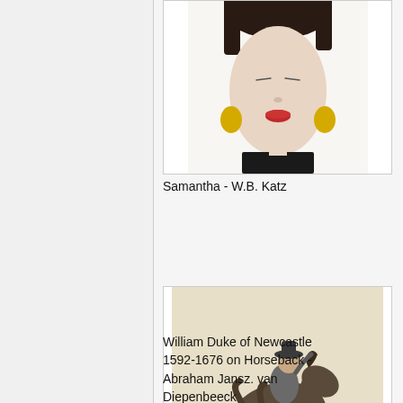[Figure (illustration): Partial view of a painted portrait showing a face with dark hair, red lips, and yellow earrings — Samantha by W.B. Katz]
Samantha - W.B. Katz
[Figure (illustration): Pencil or charcoal drawing of a rider on a rearing horse — William Duke of Newcastle 1592-1676 on Horseback by Abraham Jansz. van Diepenbeeck]
William Duke of Newcastle 1592-1676 on Horseback - Abraham Jansz. van Diepenbeeck